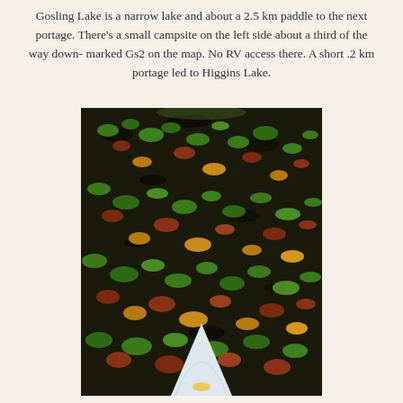Gosling Lake is a narrow lake and about a 2.5 km paddle to the next portage. There's a small campsite on the left side about a third of the way down-marked Gs2 on the map. No RV access there. A short .2 km portage led to Higgins Lake.
[Figure (photo): View from a canoe bow (white hull visible at bottom) paddling through dark water covered with green, yellow, and reddish-brown lily pads or floating leaves.]